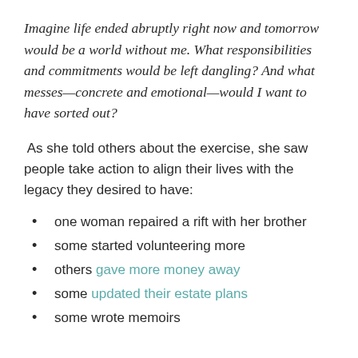Imagine life ended abruptly right now and tomorrow would be a world without me. What responsibilities and commitments would be left dangling? And what messes—concrete and emotional—would I want to have sorted out?
As she told others about the exercise, she saw people take action to align their lives with the legacy they desired to have:
one woman repaired a rift with her brother
some started volunteering more
others gave more money away
some updated their estate plans
some wrote memoirs